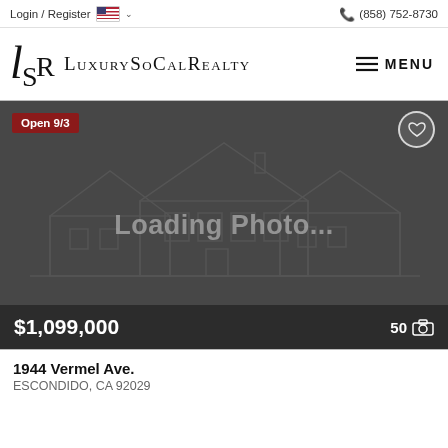Login / Register  (858) 752-8730
[Figure (logo): LuxurySoCalRealty logo with stylized LSR lettermark]
[Figure (photo): Loading Photo placeholder showing a house outline on dark grey background with Open 9/3 badge, heart icon, price $1,099,000 and 50 photo count]
1944 Vermel Ave.
ESCONDIDO, CA 92029